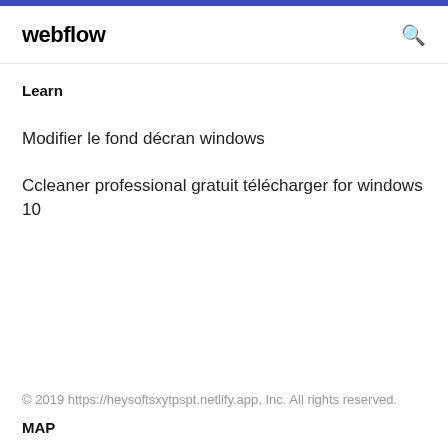webflow
Learn
Modifier le fond décran windows
Ccleaner professional gratuit télécharger for windows 10
© 2019 https://heysoftsxytpspt.netlify.app, Inc. All rights reserved.
MAP